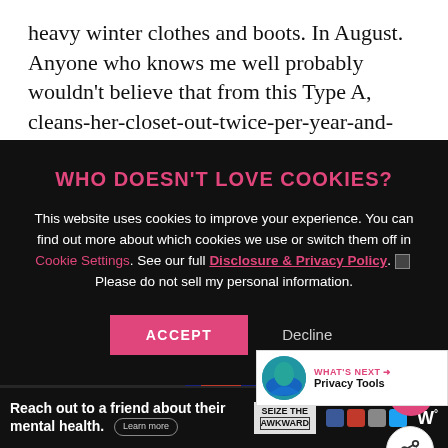heavy winter clothes and boots. In August. Anyone who knows me well probably wouldn't believe that from this Type A, cleans-her-closet-out-twice-per-year-and-always-
[Figure (screenshot): Cookie consent modal overlay on dark background with title 'WHO DOESN'T LOVE COOKIES?' in pink, body text about cookie usage with pink links for 'Cookie Settings' and 'Disclosure & Privacy Policy', a checkbox, ACCEPT button in pink and Decline button in white.]
[Figure (screenshot): Blue advertisement banner showing partial text 'GO BEYOND SA' and 'THANK YOU' with a person wearing a cap on the left side.]
[Figure (screenshot): Bottom advertisement bar with text 'Reach out to a friend about their mental health.' with Learn more button and SEIZE THE AWKWARD badge with partner logos, and weather channel logo on the right.]